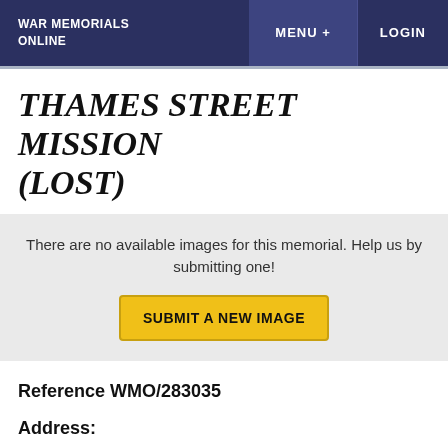WAR MEMORIALS ONLINE | MENU + | LOGIN
THAMES STREET MISSION (LOST)
There are no available images for this memorial. Help us by submitting one!
SUBMIT A NEW IMAGE
Reference WMO/283035
Address:
Thames Street Mission